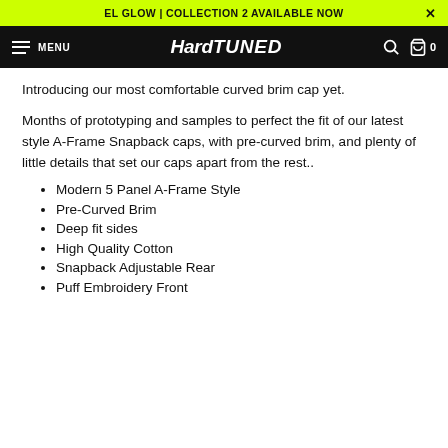EL GLOW | COLLECTION 2 AVAILABLE NOW
[Figure (logo): HardTuned logo in white italic text on black navigation bar with hamburger menu, search icon, and cart icon showing 0 items]
Introducing our most comfortable curved brim cap yet.
Months of prototyping and samples to perfect the fit of our latest style A-Frame Snapback caps, with pre-curved brim, and plenty of little details that set our caps apart from the rest..
Modern 5 Panel A-Frame Style
Pre-Curved Brim
Deep fit sides
High Quality Cotton
Snapback Adjustable Rear
Puff Embroidery Front